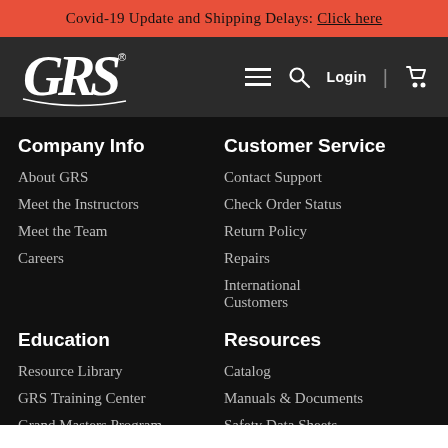Covid-19 Update and Shipping Delays: Click here
[Figure (logo): GRS logo in white on dark grey navigation bar with hamburger menu, search icon, Login text, divider, and cart icon]
Company Info
About GRS
Meet the Instructors
Meet the Team
Careers
Customer Service
Contact Support
Check Order Status
Return Policy
Repairs
International Customers
Education
Resource Library
GRS Training Center
Grand Masters Program
Counterfeit Education
Resources
Catalog
Manuals & Documents
Safety Data Sheets
Warranty